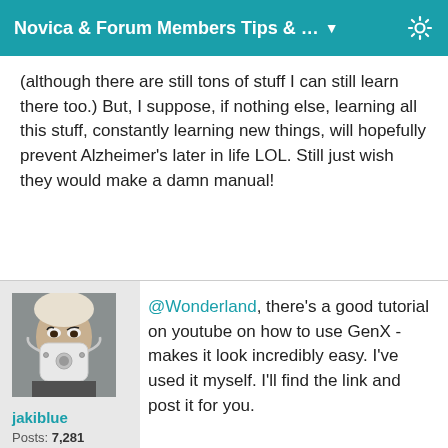Novica & Forum Members Tips & ... ▼
(although there are still tons of stuff I can still learn there too.) But, I suppose, if nothing else, learning all this stuff, constantly learning new things, will hopefully prevent Alzheimer's later in life LOL. Still just wish they would make a damn manual!
[Figure (photo): Avatar photo of user jakiblue wearing a white mask with metallic details]
jakiblue
Posts: 7,281
March 2017
@Wonderland, there's a good tutorial on youtube on how to use GenX - makes it look incredibly easy. I've used it myself. I'll find the link and post it for you.